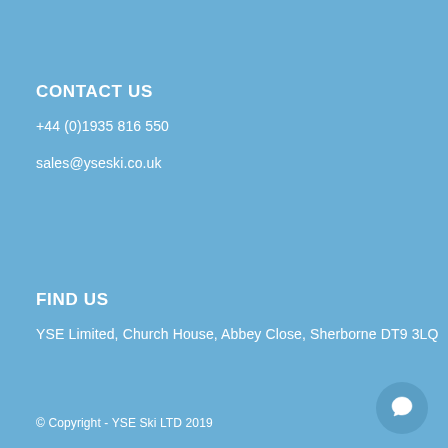CONTACT US
+44 (0)1935 816 550
sales@yseski.co.uk
FIND US
YSE Limited, Church House, Abbey Close, Sherborne DT9 3LQ
© Copyright - YSE Ski LTD 2019